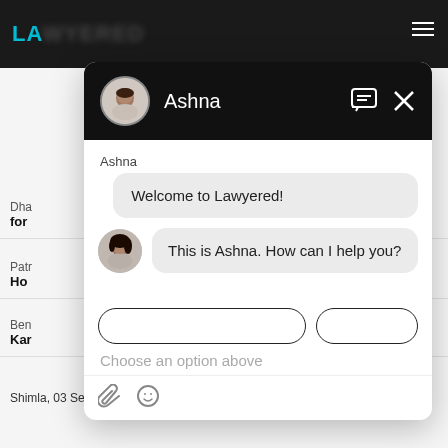[Figure (screenshot): Screenshot of the Lawyered website showing a chat widget with agent Ashna. The chat overlay shows a welcome message 'Welcome to Lawyered!' and a follow-up 'This is Ashna. How can I help you?' with a 'Choose an option above' prompt and attachment/emoji input icons.]
Ashna
Welcome to Lawyered!
This is Ashna. How can I help you?
Choose an option above
Shimla,  03 Sep, 2021,  (12 months ago)